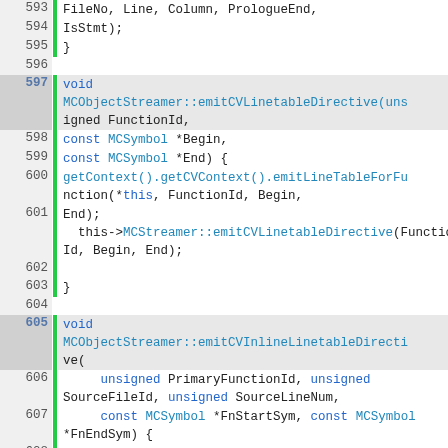[Figure (screenshot): Source code viewer showing C++ code lines 593-609 with line numbers, green coverage bars, and syntax highlighting. Lines include MCObjectStreamer method implementations for emitCVLinetableDirective and emitCVInlineLinetableDirective.]